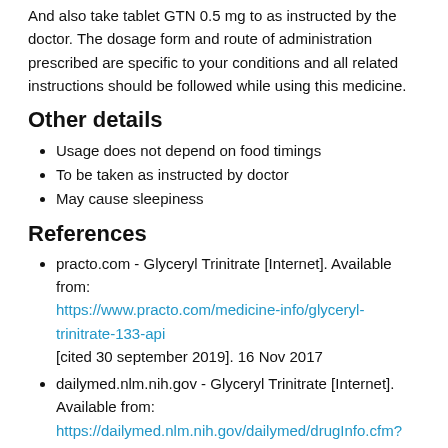And also take tablet GTN 0.5 mg to as instructed by the doctor. The dosage form and route of administration prescribed are specific to your conditions and all related instructions should be followed while using this medicine.
Other details
Usage does not depend on food timings
To be taken as instructed by doctor
May cause sleepiness
References
practo.com - Glyceryl Trinitrate [Internet]. Available from: https://www.practo.com/medicine-info/glyceryl-trinitrate-133-api [cited 30 september 2019]. 16 Nov 2017
dailymed.nlm.nih.gov - Glyceryl Trinitrate [Internet]. Available from: https://dailymed.nlm.nih.gov/dailymed/drugInfo.cfm?setid=c555f8de-477f-0225-98a2-baf8945bbd63 [cited 30 september 2019]. February 10, 2017
medlineplus.gov - Glyceryl Trinitrate [Internet]. Available from: https://medlineplus.gov/druginfo/meds/a682346.html [cited 30 september 2019]. 11 September 2019